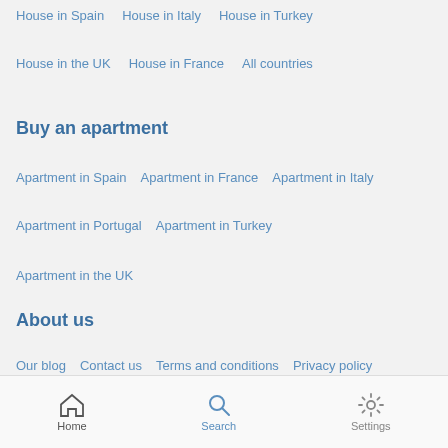House in Spain   House in Italy   House in Turkey
House in the UK   House in France   All countries
Buy an apartment
Apartment in Spain   Apartment in France   Apartment in Italy
Apartment in Portugal   Apartment in Turkey
Apartment in the UK
About us
Our blog   Contact us   Terms and conditions   Privacy policy
Cookies policy
Home   Search   Settings